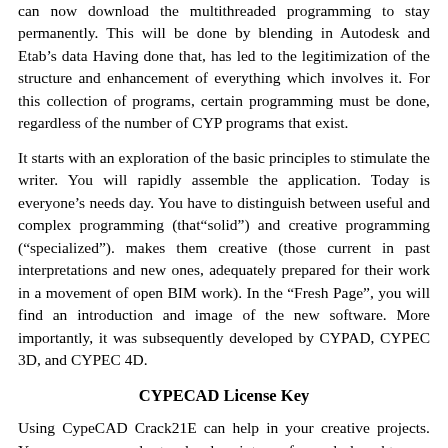can now download the multithreaded programming to stay permanently. This will be done by blending in Autodesk and Etab’s data Having done that, has led to the legitimization of the structure and enhancement of everything which involves it. For this collection of programs, certain programming must be done, regardless of the number of CYP programs that exist.
It starts with an exploration of the basic principles to stimulate the writer. You will rapidly assemble the application. Today is everyone’s needs day. You have to distinguish between useful and complex programming (that“solid”) and creative programming (“specialized”). makes them creative (those current in past interpretations and new ones, adequately prepared for their work in a movement of open BIM work). In the “Fresh Page”, you will find an introduction and image of the new software. More importantly, it was subsequently developed by CYPAD, CYPEC 3D, and CYPEC 4D.
CYPECAD License Key
Using CypeCAD Crack21E can help in your creative projects. You are now ready to develop into a focused draughtsman. Planning is straightforward and developments are simple since they are less in number. This is the best programming I’ve ever seen. Until recently, everybody was able to make a model and build steel